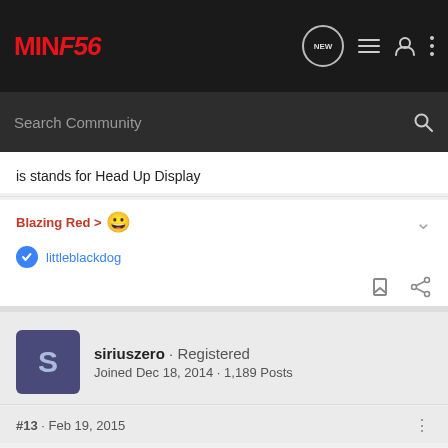MINI F56 - NEW
is stands for Head Up Display
Blazing Red > 😀
littleblackdog
siriuszero · Registered
Joined Dec 18, 2014 · 1,189 Posts
#13 · Feb 19, 2015